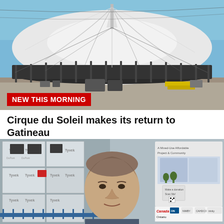[Figure (photo): Large white circus tent (Cirque du Soleil big top) being assembled on a flat paved lot under blue sky. Metal scaffolding poles surround the tent perimeter. Construction equipment and dumpsters visible on the ground.]
NEW THIS MORNING
Cirque du Soleil makes its return to Gatineau
[Figure (photo): A man with gray-brown hair in the foreground, outdoors. On the left background is a building under construction covered in Tyvek house wrap. On the right background is a sign mentioning 'A Mixed-Use Affordable Project & Community' with logos for Canada, Ontario, and other organizations.]